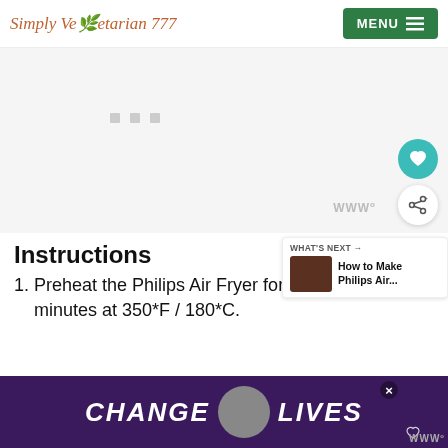Simply Vegetarian 777 | MENU
[Figure (other): Advertisement placeholder area with three gray dots indicating loading ad content]
Instructions
1. Preheat the Philips Air Fryer for minutes at 350*F / 180*C.
[Figure (other): Bottom banner advertisement showing cats with text CHANGE LIVES on purple background. Has a close button X and a heart icon.]